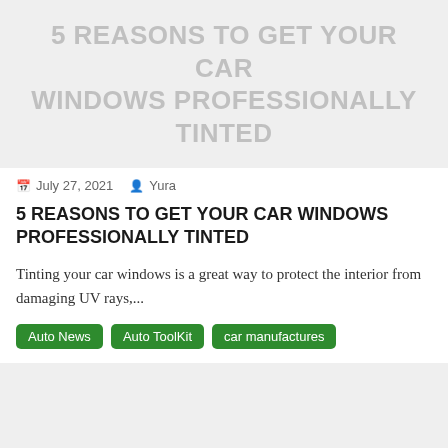[Figure (other): Gray banner image with title text overlay: 5 REASONS TO GET YOUR CAR WINDOWS PROFESSIONALLY TINTED]
July 27, 2021  Yura
5 REASONS TO GET YOUR CAR WINDOWS PROFESSIONALLY TINTED
Tinting your car windows is a great way to protect the interior from damaging UV rays,...
Auto News  Auto ToolKit  car manufactures
[Figure (other): Gray banner/image area at bottom of page]